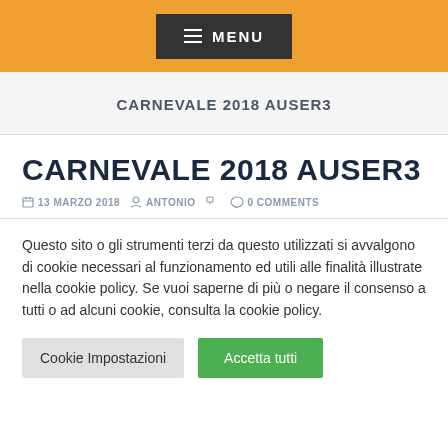MENU
CARNEVALE 2018 AUSER3
CARNEVALE 2018 AUSER3
13 MARZO 2018   ANTONIO   0 COMMENTS
Questo sito o gli strumenti terzi da questo utilizzati si avvalgono di cookie necessari al funzionamento ed utili alle finalità illustrate nella cookie policy. Se vuoi saperne di più o negare il consenso a tutti o ad alcuni cookie, consulta la cookie policy.
Cookie Impostazioni   Accetta tutti